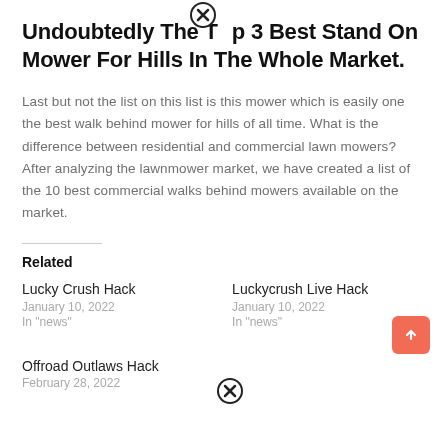Undoubtedly The Top 3 Best Stand On Mower For Hills In The Whole Market.
Last but not the list on this list is this mower which is easily one the best walk behind mower for hills of all time. What is the difference between residential and commercial lawn mowers? After analyzing the lawnmower market, we have created a list of the 10 best commercial walks behind mowers available on the market.
Related
Lucky Crush Hack
January 10, 2022
In "news"
Luckycrush Live Hack
January 10, 2022
In "news"
Offroad Outlaws Hack
February 28, 2022